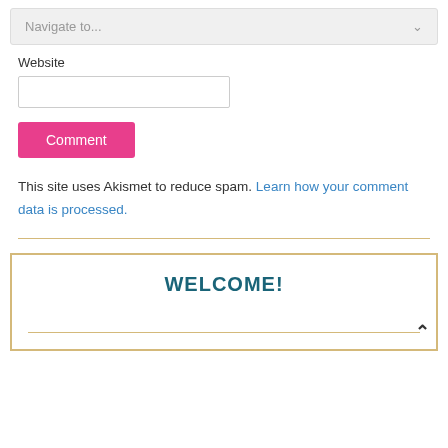Navigate to...
Website
Comment
This site uses Akismet to reduce spam. Learn how your comment data is processed.
WELCOME!